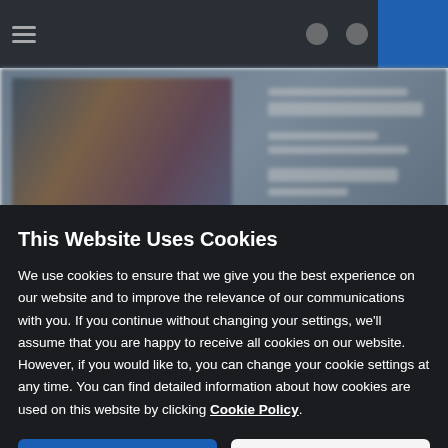[Figure (screenshot): Blurred website background showing a dark top navigation bar with hamburger menu, icons, and a blue corner element, with blurred content/image area below]
This Website Uses Cookies
We use cookies to ensure that we give you the best experience on our website and to improve the relevance of our communications with you. If you continue without changing your settings, we'll assume that you are happy to receive all cookies on our website. However, if you would like to, you can change your cookie settings at any time. You can find detailed information about how cookies are used on this website by clicking Cookie Policy.
Ok
Cookie Policy